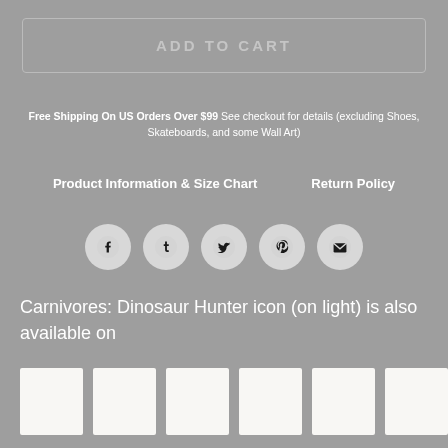ADD TO CART
Free Shipping On US Orders Over $99 See checkout for details (excluding Shoes, Skateboards, and some Wall Art)
Product Information & Size Chart    Return Policy
[Figure (other): Row of five social media share icons: Facebook, Tumblr, Twitter, Pinterest, Email — circular gray buttons with dark symbols]
Carnivores: Dinosaur Hunter icon (on light) is also available on
[Figure (other): Six white product thumbnail image placeholders in a horizontal row]